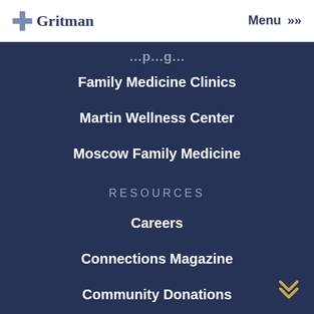Gritman  Menu >>
Family Medicine Clinics
Martin Wellness Center
Moscow Family Medicine
RESOURCES
Careers
Connections Magazine
Community Donations
Community Resource Guide
Employee | Board
Life Flight Membership